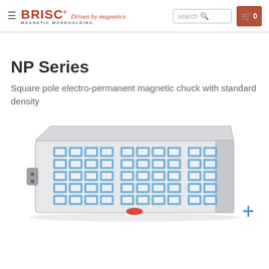BRISC Driven by magnetics MAGNETIC WORKHOLDING — search — cart 0
NP Series
Square pole electro-permanent magnetic chuck with standard density
[Figure (photo): Rectangular electro-permanent magnetic chuck with square pole pattern arranged in a grid, blue magnetic poles visible on the silver/gray body, with a connector on the left side. A blue plus (+) icon is shown to the right.]